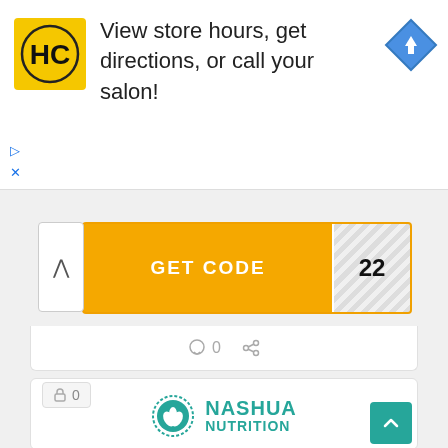[Figure (screenshot): Advertisement banner with HairClub HC logo in yellow square, text 'View store hours, get directions, or call your salon!', and a blue diamond navigation arrow icon. Below the ad are play and close (X) controls.]
[Figure (screenshot): GET CODE button in orange/amber color with diagonal striped reveal panel showing '22' on the right side. A chevron-up caret button is on the left.]
0
[Figure (logo): Nashua Nutrition logo: teal circle with leaf icon, bold teal text 'NASHUA NUTRITION']
[Figure (screenshot): Lock icon badge showing '0' and a teal scroll-to-top button in the bottom right corner]